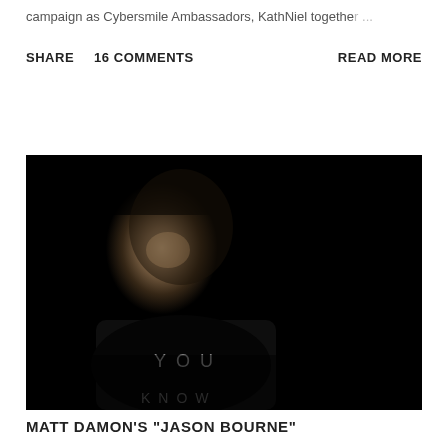campaign as Cybersmile Ambassadors, KathNiel together ...
SHARE   16 COMMENTS   READ MORE
[Figure (photo): Black and white dramatic portrait of a man (Matt Damon) in near-darkness wearing a black shirt with text 'YOU KNOW' partially visible]
MATT DAMON'S "JASON BOURNE"